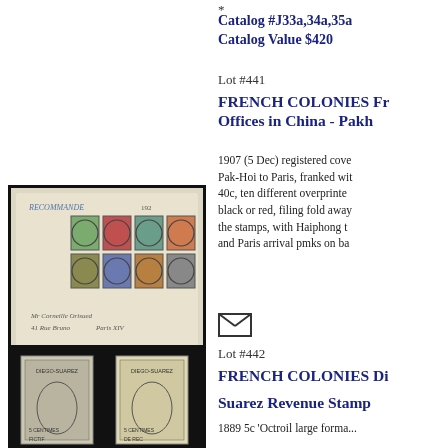*
Catalog #J33a,34a,35a
Catalog Value $420
[Figure (photo): Registered cover from Pak-Hoi to Paris with ten different overprinted stamps in black or red, with handwritten address and postal markings]
Lot #441
FRENCH COLONIES French Offices in China - Pakho
1907 (5 Dec) registered cover Pak-Hoi to Paris, franked with 40c, ten different overprinted black or red, filing fold away the stamps, with Haiphong t and Paris arrival pmks on ba
[Figure (infographic): Envelope/letter symbol (mail icon)]
Lot #442
FRENCH COLONIES Diego Suarez Revenue Stamps
[Figure (photo): Two Diego-Suarez 5 centimes stamp images on black background]
1889 5c 'Octroil large format...